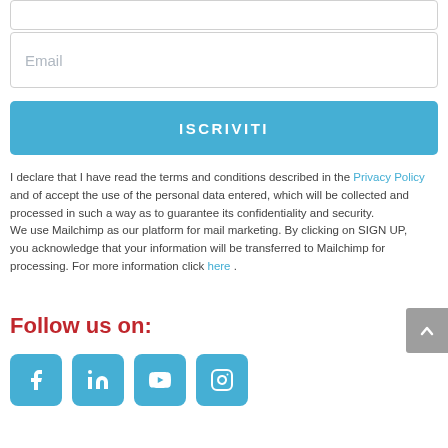Email
ISCRIVITI
I declare that I have read the terms and conditions described in the Privacy Policy and of accept the use of the personal data entered, which will be collected and processed in such a way as to guarantee its confidentiality and security.
We use Mailchimp as our platform for mail marketing. By clicking on SIGN UP, you acknowledge that your information will be transferred to Mailchimp for processing. For more information click here .
Follow us on:
[Figure (infographic): Four social media icon buttons (Facebook, LinkedIn, YouTube, Instagram) in blue rounded squares, plus a grey scroll-to-top button]